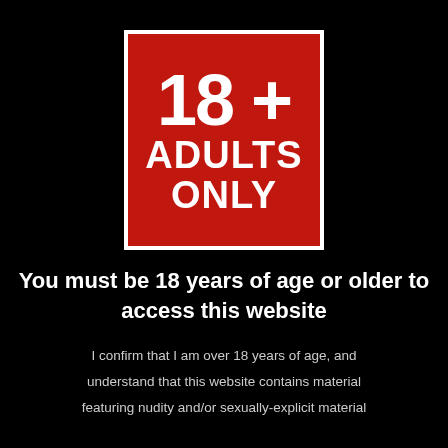[Figure (illustration): Red square badge with white border containing '18 +' in large bold white text and 'ADULTS ONLY' in bold white text below]
You must be 18 years of age or older to access this website
I confirm that I am over 18 years of age, and understand that this website contains material featuring nudity and/or sexually-explicit material